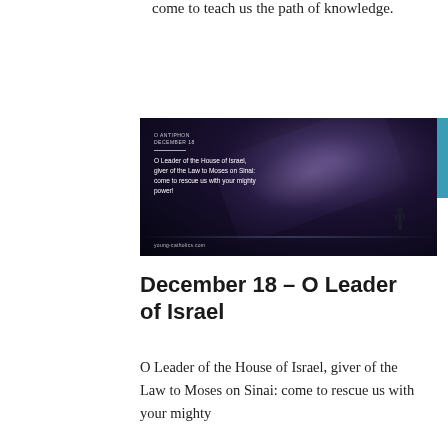come to teach us the path of knowledge.
[Figure (photo): Night sky with milky way and silhouette of person standing on a hill, with overlaid text: 'O Antiphon December 18 — O Leader of the House of Israel, giver of the Law to Moses on Sinai: come to rescue us with your mighty power!' and 'young-catholics.com']
December 18 – O Leader of Israel
O Leader of the House of Israel, giver of the Law to Moses on Sinai: come to rescue us with your mighty